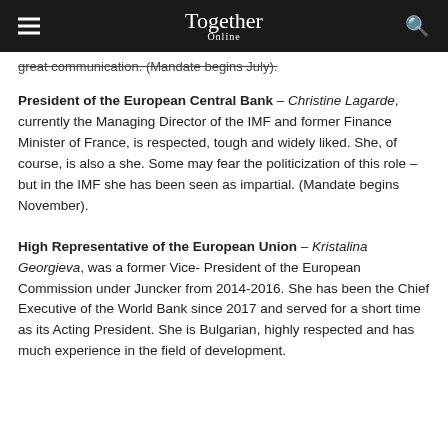Together Online
great communication. (Mandate begins July).
President of the European Central Bank – Christine Lagarde, currently the Managing Director of the IMF and former Finance Minister of France, is respected, tough and widely liked. She, of course, is also a she. Some may fear the politicization of this role – but in the IMF she has been seen as impartial. (Mandate begins November).
High Representative of the European Union – Kristalina Georgieva, was a former Vice- President of the European Commission under Juncker from 2014-2016. She has been the Chief Executive of the World Bank since 2017 and served for a short time as its Acting President. She is Bulgarian, highly respected and has much experience in the field of development.